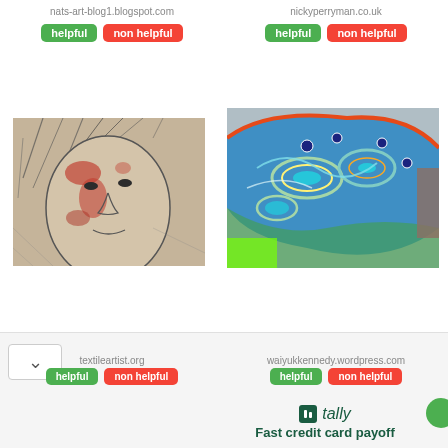nats-art-blog1.blogspot.com
helpful / non helpful (buttons)
nickyperryman.co.uk
helpful / non helpful (buttons)
[Figure (photo): Sketch/mixed media portrait of a face with red paint marks on textile/paper background]
[Figure (photo): Colorful embroidered or beaded textile art in blue, green, and teal tones with paisley patterns]
textileartist.org
helpful / non helpful (buttons)
waiyukkennedy.wordpress.com
helpful / non helpful (buttons)
tally
Fast credit card payoff